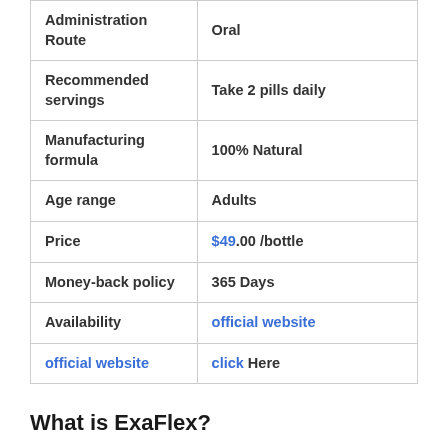| Administration Route | Oral |
| Recommended servings | Take 2 pills daily |
| Manufacturing formula | 100% Natural |
| Age range | Adults |
| Price | $49.00 /bottle |
| Money-back policy | 365 Days |
| Availability | official website |
| official website | click Here |
What is ExaFlex?